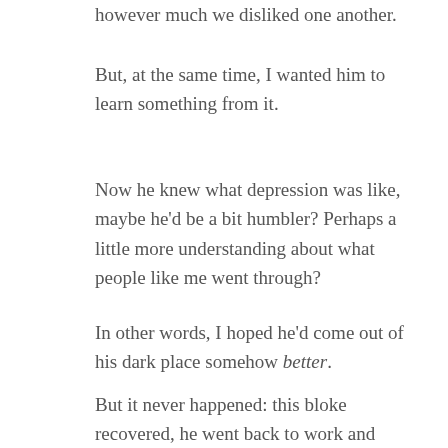however much we disliked one another.
But, at the same time, I wanted him to learn something from it.
Now he knew what depression was like, maybe he'd be a bit humbler? Perhaps a little more understanding about what people like me went through?
In other words, I hoped he'd come out of his dark place somehow better.
But it never happened: this bloke recovered, he went back to work and normal life, and the next time I bumped into him, he was spectacularly hurtful and rude. In other words, just the same